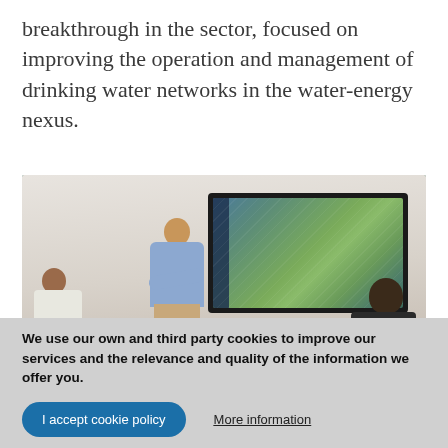breakthrough in the sector, focused on improving the operation and management of drinking water networks in the water-energy nexus.
[Figure (photo): A person standing and pointing at a wall-mounted TV screen showing a map, while two other people sit at a table watching the presentation.]
We use our own and third party cookies to improve our services and the relevance and quality of the information we offer you.
I accept cookie policy
More information